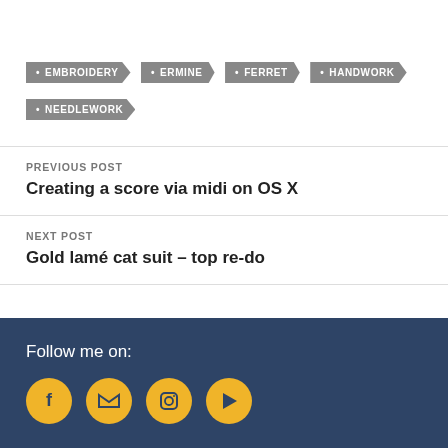EMBROIDERY
ERMINE
FERRET
HANDWORK
NEEDLEWORK
PREVIOUS POST
Creating a score via midi on OS X
NEXT POST
Gold lamé cat suit – top re-do
Follow me on: